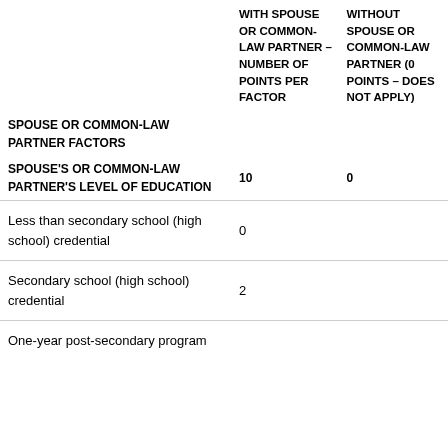| SPOUSE OR COMMON-LAW PARTNER FACTORS | WITH SPOUSE OR COMMON-LAW PARTNER – NUMBER OF POINTS PER FACTOR | WITHOUT SPOUSE OR COMMON-LAW PARTNER (0 POINTS – DOES NOT APPLY) |
| --- | --- | --- |
| SPOUSE'S OR COMMON-LAW PARTNER'S LEVEL OF EDUCATION | 10 | 0 |
| Less than secondary school (high school) credential | 0 |  |
| Secondary school (high school) credential | 2 |  |
| One-year post-secondary program |  |  |